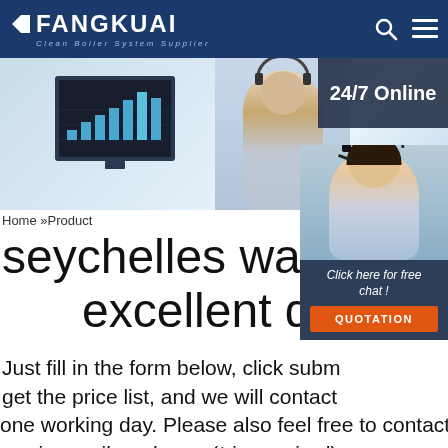FANGKUAI Clean Boiler System Supplier
[Figure (screenshot): Hero banner with a customer service representative wearing a headset, a monitor displaying a bar chart, and a 24/7 Online overlay box in the top-right corner]
[Figure (photo): Chat widget showing a female customer service representative with headset, text 'Click here for free chat!' and an orange QUOTATION button]
Home »Product
seychelles water tube excellent quality
Just fill in the form below, click submit, you will get the price list, and we will contact you within one working day. Please also feel free to contact us via email or phone. (* is required).
Name:
Email: